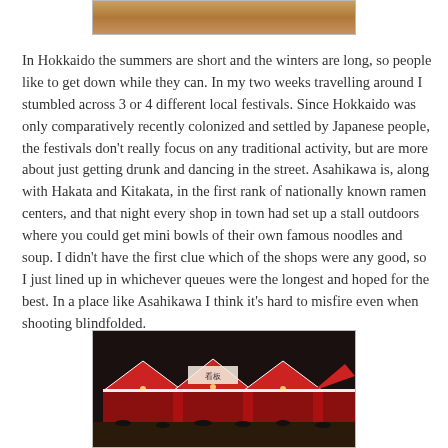[Figure (photo): Top portion of a photo, partially cropped, showing warm tones suggesting an outdoor scene]
In Hokkaido the summers are short and the winters are long, so people like to get down while they can. In my two weeks travelling around I stumbled across 3 or 4 different local festivals. Since Hokkaido was only comparatively recently colonized and settled by Japanese people, the festivals don't really focus on any traditional activity, but are more about just getting drunk and dancing in the street. Asahikawa is, along with Hakata and Kitakata, in the first rank of nationally known ramen centers, and that night every shop in town had set up a stall outdoors where you could get mini bowls of their own famous noodles and soup. I didn't have the first clue which of the shops were any good, so I just lined up in whichever queues were the longest and hoped for the best. In a place like Asahikawa I think it's hard to misfire even when shooting blindfolded.
[Figure (photo): Nighttime festival scene showing red and white striped tents/stalls with crowds of people, taken at a Japanese outdoor festival]